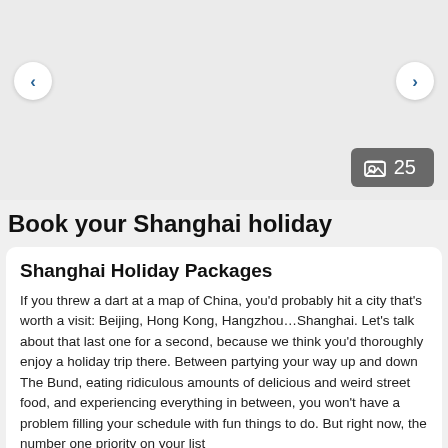[Figure (other): Image slideshow area with previous and next navigation arrows and a photo count badge showing 25 photos]
Book your Shanghai holiday
Shanghai Holiday Packages
If you threw a dart at a map of China, you'd probably hit a city that's worth a visit: Beijing, Hong Kong, Hangzhou…Shanghai. Let's talk about that last one for a second, because we think you'd thoroughly enjoy a holiday trip there. Between partying your way up and down The Bund, eating ridiculous amounts of delicious and weird street food, and experiencing everything in between, you won't have a problem filling your schedule with fun things to do. But right now, the number one priority on your list